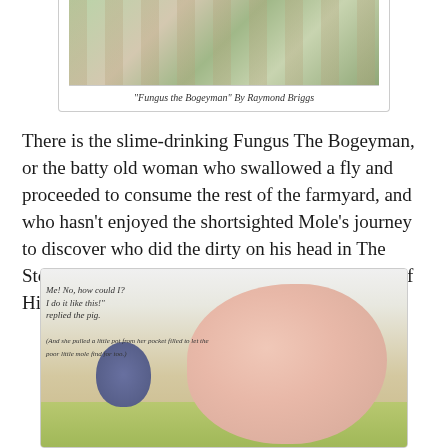[Figure (illustration): Illustration from 'Fungus the Bogeyman' by Raymond Briggs showing shelves with jars and items]
"Fungus the Bogeyman" By Raymond Briggs
There is the slime-drinking Fungus The Bogeyman, or the batty old woman who swallowed a fly and proceeded to consume the rest of the farmyard, and who hasn't enjoyed the shortsighted Mole's journey to discover who did the dirty on his head in The Story of the Little Mole Who Knew It Was None of His Business?
[Figure (illustration): Illustration from 'The Story of the Little Mole Who Knew It Was None of His Business' showing a small mole in a hat looking up at a large pig, with handwritten text reading 'Me! No, how could I? I do it like this!' replied the pig.]